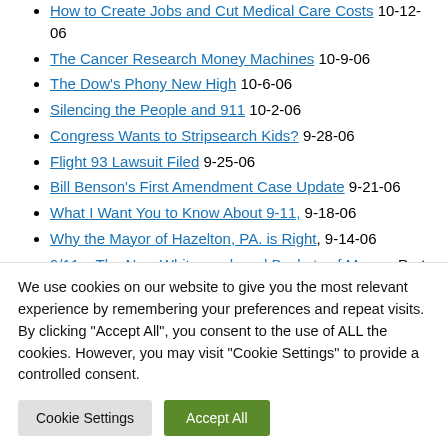How to Create Jobs and Cut Medical Care Costs 10-12-06
The Cancer Research Money Machines 10-9-06
The Dow's Phony New High 10-6-06
Silencing the People and 911 10-2-06
Congress Wants to Stripsearch Kids? 9-28-06
Flight 93 Lawsuit Filed 9-25-06
Bill Benson's First Amendment Case Update 9-21-06
What I Want You to Know About 9-11, 9-18-06
Why the Mayor of Hazelton, PA. is Right, 9-14-06
9/11 – The New White-wash and Buckets of Money, Part 2, 9-11-06
9/11 – The New White-wash and Buckets of Money,
We use cookies on our website to give you the most relevant experience by remembering your preferences and repeat visits. By clicking "Accept All", you consent to the use of ALL the cookies. However, you may visit "Cookie Settings" to provide a controlled consent.